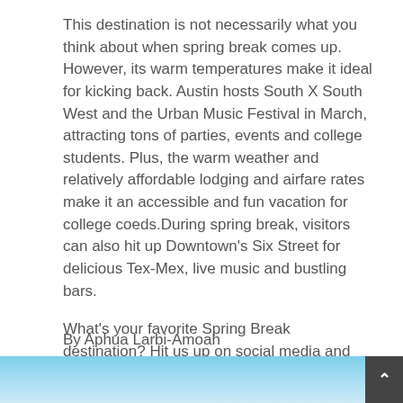This destination is not necessarily what you think about when spring break comes up. However, its warm temperatures make it ideal for kicking back. Austin hosts South X South West and the Urban Music Festival in March, attracting tons of parties, events and college students. Plus, the warm weather and relatively affordable lodging and airfare rates make it an accessible and fun vacation for college coeds.During spring break, visitors can also hit up Downtown's Six Street for delicious Tex-Mex, live music and bustling bars.
What's your favorite Spring Break destination? Hit us up on social media and tune in every week for 'The StyleList'—Your weekly roundup of the hottest fashion, trends and pop culture on ONX. Hosted by Kinya Claiborne, STYLE & SOCIETY Magazine.
By Aphua Larbi-Amoah
[Figure (photo): Blue sky photo strip at the bottom of the page, with a dark gray back-to-top button with an upward arrow in the bottom right corner.]